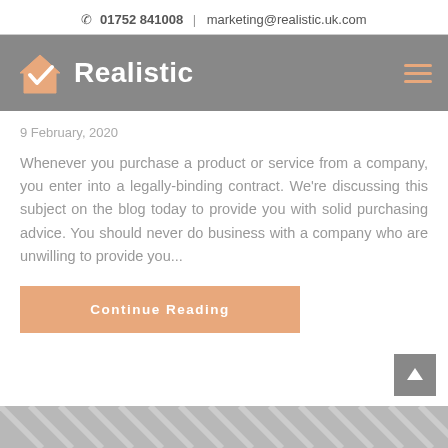📞  01752 841008  |  marketing@realistic.uk.com
[Figure (logo): Realistic logo with house icon and company name]
9 February, 2020
Whenever you purchase a product or service from a company, you enter into a legally-binding contract. We're discussing this subject on the blog today to provide you with solid purchasing advice. You should never do business with a company who are unwilling to provide you...
Continue Reading